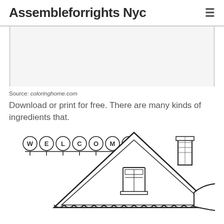Assembleforrights Nyc
Source: coloringhome.com
Download or print for free. There are many kinds of ingredients that.
[Figure (illustration): A coloring page illustration showing a gingerbread house with a triangular roof covered in snow, a chimney, a window, decorative icicles along the eaves, and a 'WELCOME' sign made of letter beads on a string in the lower left corner.]